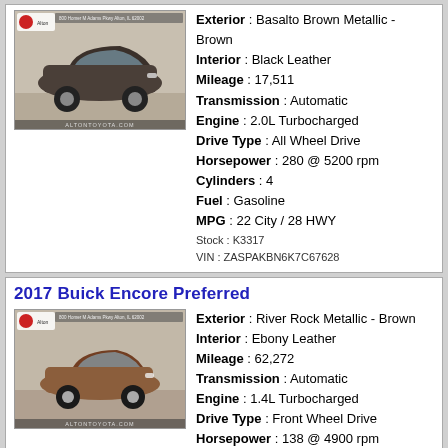[Figure (photo): Photo of a dark brown/grey Alfa Romeo Stelvio SUV, dealership watermark at bottom reading ALTONTOYOTA.COM]
Exterior : Basalto Brown Metallic - Brown
Interior : Black Leather
Mileage : 17,511
Transmission : Automatic
Engine : 2.0L Turbocharged
Drive Type : All Wheel Drive
Horsepower : 280 @ 5200 rpm
Cylinders : 4
Fuel : Gasoline
MPG : 22 City / 28 HWY
Stock : K3317
VIN : ZASPAKBN6K7C67628
2017 Buick Encore Preferred
[Figure (photo): Photo of a brown/copper Buick Encore SUV, dealership watermark at bottom reading ALTONTOYOTA.COM]
Exterior : River Rock Metallic - Brown
Interior : Ebony Leather
Mileage : 62,272
Transmission : Automatic
Engine : 1.4L Turbocharged
Drive Type : Front Wheel Drive
Horsepower : 138 @ 4900 rpm
Cylinders : 4
Fuel : Gasoline
MPG : 25 City / 33 HWY
Stock : K3370
VIN : KL4CJASB7HB084715
2018 Buick Encore Preferred II